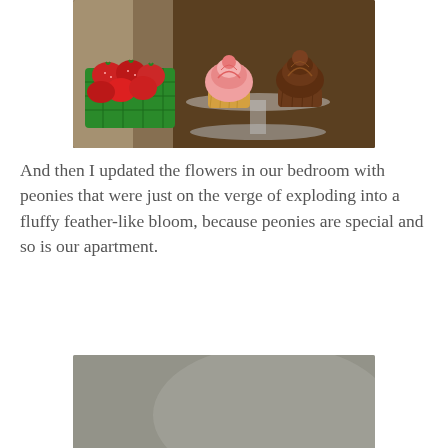[Figure (photo): Photo of two cupcakes on a glass cake stand — one with pink swirl frosting, one with chocolate frosting — and a green basket of fresh strawberries, all inside a refrigerator.]
And then I updated the flowers in our bedroom with peonies that were just on the verge of exploding into a fluffy feather-like bloom, because peonies are special and so is our apartment.
[Figure (photo): Close-up photo of soft pink peony blooms with a blurred gray-green background, shot from a low angle.]